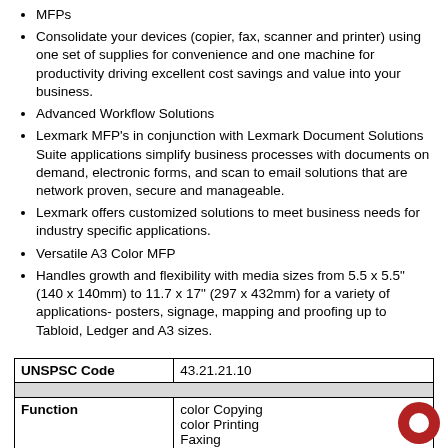MFPs
Consolidate your devices (copier, fax, scanner and printer) using one set of supplies for convenience and one machine for productivity driving excellent cost savings and value into your business.
Advanced Workflow Solutions
Lexmark MFP's in conjunction with Lexmark Document Solutions Suite applications simplify business processes with documents on demand, electronic forms, and scan to email solutions that are network proven, secure and manageable.
Lexmark offers customized solutions to meet business needs for industry specific applications.
Versatile A3 Color MFP
Handles growth and flexibility with media sizes from 5.5 x 5.5" (140 x 140mm) to 11.7 x 17" (297 x 432mm) for a variety of applications- posters, signage, mapping and proofing up to Tabloid, Ledger and A3 sizes.
| UNSPSC Code | 43.21.21.10 |
| --- | --- |
| Function | color Copying
color Printing
Faxing
color Network Scanning |
| Print Speed (A4, Black):
Up to | 29 ppm |